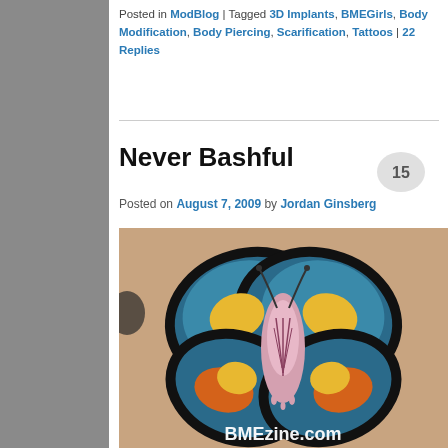Posted in ModBlog | Tagged 3D Implants, BMEGirls, Body Modification, Body Piercing, Scarification, Tattoos | 22 Replies
Never Bashful
Posted on August 7, 2009 by Jordan Ginsberg
[Figure (photo): A butterfly tattoo on a person's torso with BMEzine.com watermark at the bottom]